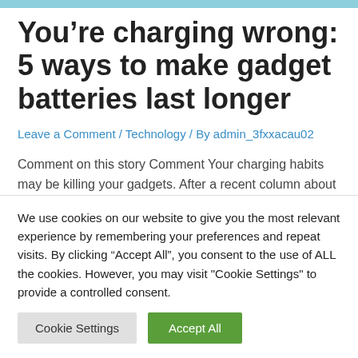You’re charging wrong: 5 ways to make gadget batteries last longer
Leave a Comment / Technology / By admin_3fxxacau02
Comment on this story Comment Your charging habits may be killing your gadgets. After a recent column about the hidden death dates built into our devices, many Washington Post readers asked
We use cookies on our website to give you the most relevant experience by remembering your preferences and repeat visits. By clicking “Accept All”, you consent to the use of ALL the cookies. However, you may visit “Cookie Settings” to provide a controlled consent.